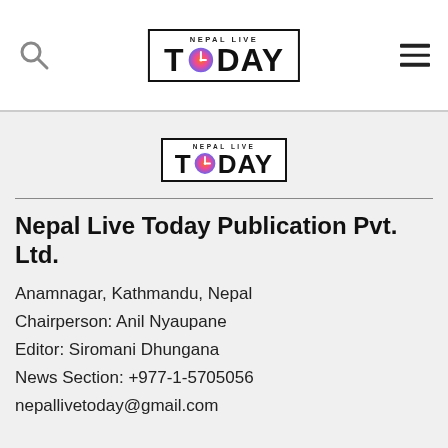Nepal Live Today — navigation header with search icon and menu icon
[Figure (logo): Nepal Live Today logo — bordered box with clock icon replacing O in TODAY]
Nepal Live Today Publication Pvt. Ltd.
Anamnagar, Kathmandu, Nepal
Chairperson: Anil Nyaupane
Editor: Siromani Dhungana
News Section: +977-1-5705056
nepallivetoday@gmail.com